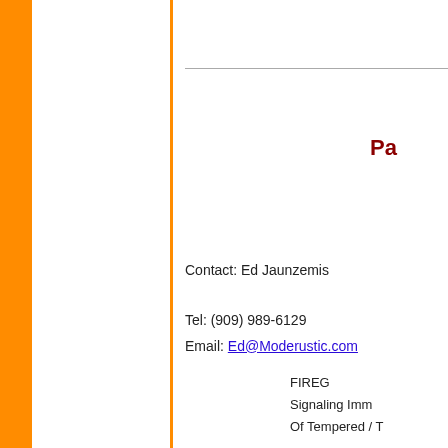Pa
Contact:  Ed Jaunzemis

Tel: (909) 989-6129
Email:  Ed@Moderustic.com
FIREG
Signaling Imm
Of Tempered / T